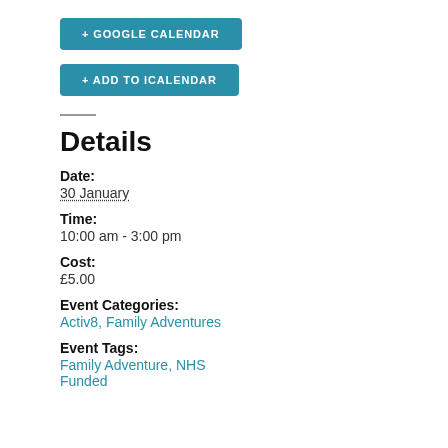+ GOOGLE CALENDAR
+ ADD TO ICALENDAR
Details
Date:
30 January
Time:
10:00 am - 3:00 pm
Cost:
£5.00
Event Categories:
Activ8, Family Adventures
Event Tags:
Family Adventure, NHS Funded